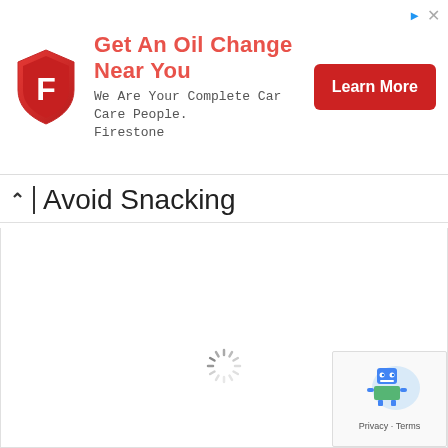[Figure (infographic): Firestone advertisement banner. Red shield logo with letter F. Text: 'Get An Oil Change Near You', 'We Are Your Complete Car Care People. Firestone'. Red 'Learn More' button. Blue arrow and X icons in top-right corner.]
Avoid Snacking
[Figure (infographic): Loading spinner (circular dashed spinner) centered in white content area]
[Figure (infographic): Google reCAPTCHA badge in bottom-right corner with robot icon and 'Privacy - Terms' text]